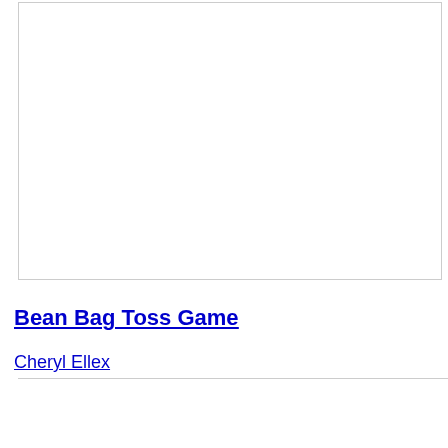[Figure (other): Empty white box with light grey border at top of page]
Bean Bag Toss Game
Cheryl Ellex
[Figure (photo): Image area with broken image icon in top left corner, bordered region below author name]